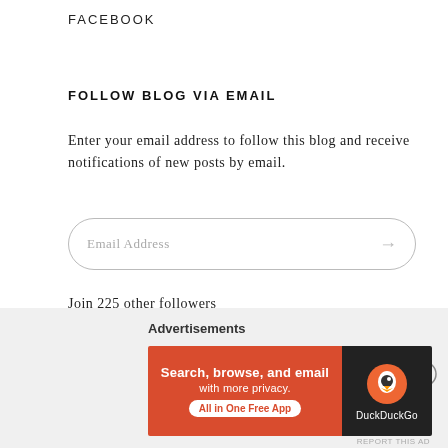FACEBOOK
FOLLOW BLOG VIA EMAIL
Enter your email address to follow this blog and receive notifications of new posts by email.
[Figure (other): Email address input field with rounded border and arrow button]
Join 225 other followers
[Figure (other): Follow MsSuSays button with WordPress icon in teal/blue color]
Advertisements
[Figure (other): DuckDuckGo advertisement banner: Search, browse, and email with more privacy. All in One Free App. Shows DuckDuckGo logo on dark background.]